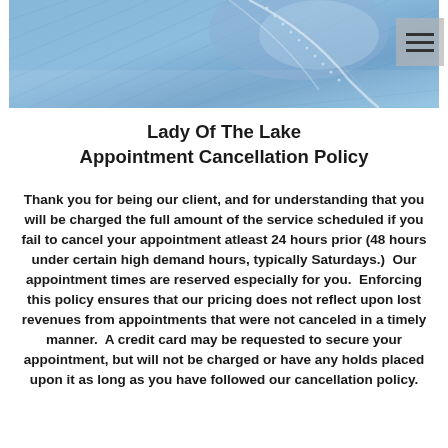[Figure (photo): Close-up photo of blue denim fabric with stitching detail, serving as a decorative header image.]
Lady Of The Lake Appointment Cancellation Policy
Thank you for being our client, and for understanding that you will be charged the full amount of the service scheduled if you fail to cancel your appointment atleast 24 hours prior (48 hours under certain high demand hours, typically Saturdays.)  Our appointment times are reserved especially for you.  Enforcing this policy ensures that our pricing does not reflect upon lost revenues from appointments that were not canceled in a timely manner.  A credit card may be requested to secure your appointment, but will not be charged or have any holds placed upon it as long as you have followed our cancellation policy.